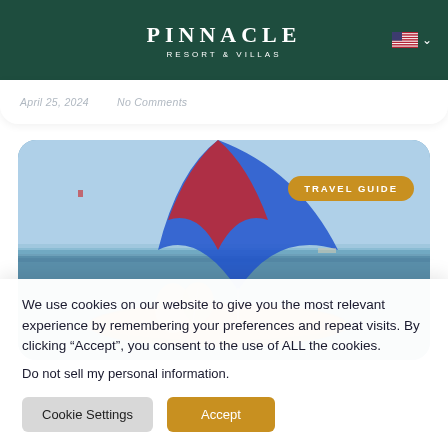PINNACLE RESORT & VILLAS
[Figure (photo): Water sport / parasailing scene at a beach resort. People in life jackets on a colorful inflatable boat with a large blue and red parachute/sail rising up. Ocean and sky in background. A yellow 'TRAVEL GUIDE' badge overlaid in the top right corner.]
We use cookies on our website to give you the most relevant experience by remembering your preferences and repeat visits. By clicking “Accept”, you consent to the use of ALL the cookies.
Do not sell my personal information.
Cookie Settings   Accept